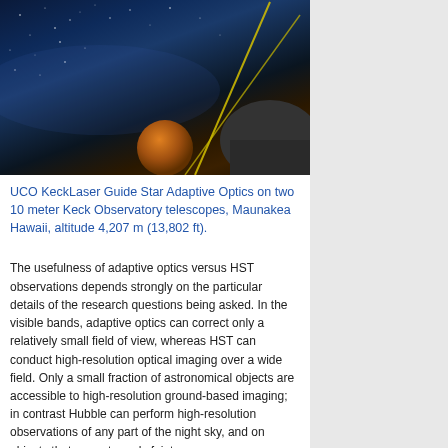[Figure (photo): Nighttime photo of Keck Observatory laser guide star adaptive optics system. A yellow/gold laser beam shoots from a telescope dome into the starry night sky above Maunakea, Hawaii. The Milky Way is visible in the background. A large orange-brown dome structure is prominent in the foreground right.]
UCO KeckLaser Guide Star Adaptive Optics on two 10 meter Keck Observatory telescopes, Maunakea Hawaii, altitude 4,207 m (13,802 ft).
The usefulness of adaptive optics versus HST observations depends strongly on the particular details of the research questions being asked. In the visible bands, adaptive optics can correct only a relatively small field of view, whereas HST can conduct high-resolution optical imaging over a wide field. Only a small fraction of astronomical objects are accessible to high-resolution ground-based imaging; in contrast Hubble can perform high-resolution observations of any part of the night sky, and on objects that are extremely faint.
Impact on aerospace engineering